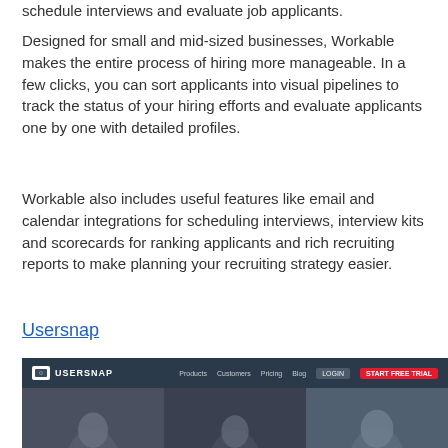schedule interviews and evaluate job applicants.
Designed for small and mid-sized businesses, Workable makes the entire process of hiring more manageable. In a few clicks, you can sort applicants into visual pipelines to track the status of your hiring efforts and evaluate applicants one by one with detailed profiles.
Workable also includes useful features like email and calendar integrations for scheduling interviews, interview kits and scorecards for ranking applicants and rich recruiting reports to make planning your recruiting strategy easier.
Usersnap
[Figure (screenshot): Screenshot of the Usersnap website showing a dark-themed navigation bar with the Usersnap logo, navigation links (Products, Customers, Pricing, Blog), LOGIN button, and a red START FREE TRIAL button. Below is a dark photo showing three people.]